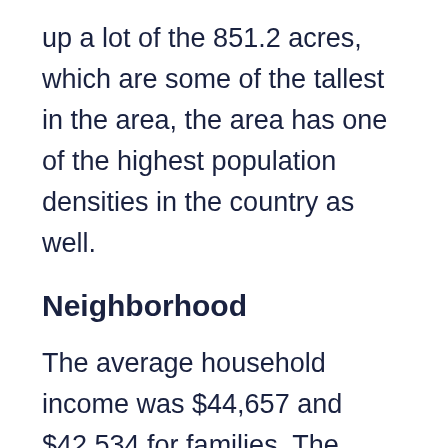up a lot of the 851.2 acres, which are some of the tallest in the area, the area has one of the highest population densities in the country as well.
Neighborhood
The average household income was $44,657 and $42,534 for families. The residents in West New York are employed in a mix of both white and blue-collar